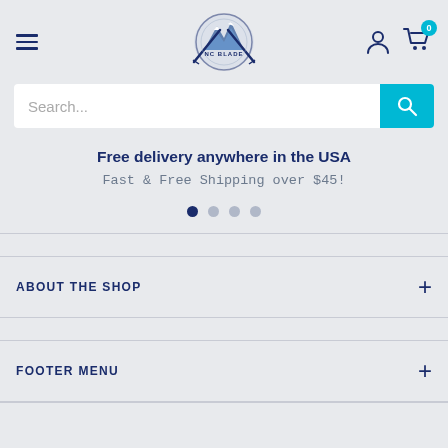[Figure (logo): NC Blade store logo with mountain and crossed blades/swords emblem]
Search...
Free delivery anywhere in the USA
Fast & Free Shipping over $45!
ABOUT THE SHOP
FOOTER MENU